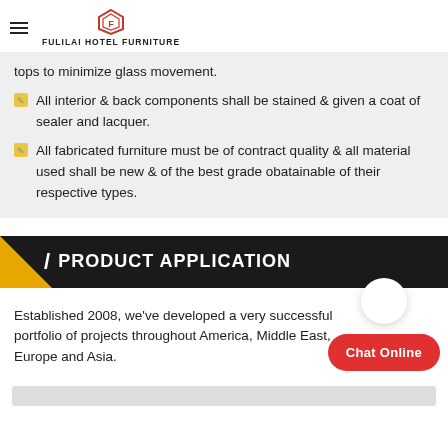FULILAI HOTEL FURNITURE
tops to minimize glass movement.
All interior & back components shall be stained & given a coat of sealer and lacquer.
All fabricated furniture must be of contract quality & all material used shall be new & of the best grade obatainable of their respective types.
PRODUCT APPLICATION
Established 2008, we've developed a very successful portfolio of projects throughout America, Middle East, Europe and Asia.